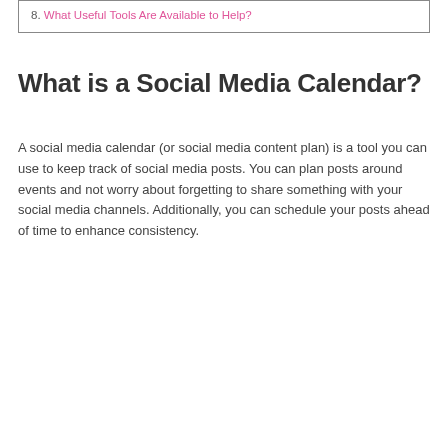8. What Useful Tools Are Available to Help?
What is a Social Media Calendar?
A social media calendar (or social media content plan) is a tool you can use to keep track of social media posts. You can plan posts around events and not worry about forgetting to share something with your social media channels. Additionally, you can schedule your posts ahead of time to enhance consistency.